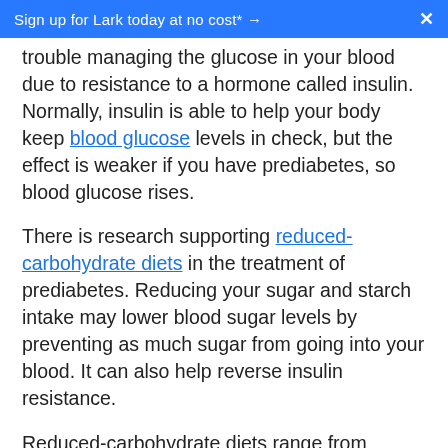Sign up for Lark today at no cost* →  ×
trouble managing the glucose in your blood due to resistance to a hormone called insulin. Normally, insulin is able to help your body keep blood glucose levels in check, but the effect is weaker if you have prediabetes, so blood glucose rises.
There is research supporting reduced-carbohydrate diets in the treatment of prediabetes. Reducing your sugar and starch intake may lower blood sugar levels by preventing as much sugar from going into your blood. It can also help reverse insulin resistance.
Reduced-carbohydrate diets range from moderate to very low-carb. The rest of your calories come from protein and fat, so you might depend more heavily on high-protein and high-fat foods than the